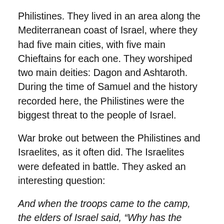Philistines. They lived in an area along the Mediterranean coast of Israel, where they had five main cities, with five main Chieftains for each one. They worshiped two main deities: Dagon and Ashtaroth. During the time of Samuel and the history recorded here, the Philistines were the biggest threat to the people of Israel.
War broke out between the Philistines and Israelites, as it often did. The Israelites were defeated in battle. They asked an interesting question:
And when the troops came to the camp, the elders of Israel said, “Why has the LORD defeated us today before the Philistines? (1 Samuel 4:3)
Another translation says, “why did the Lord let us be defeated today?” They blamed God for their defeat. They didn’t even ask… “in anticipation…” “the…